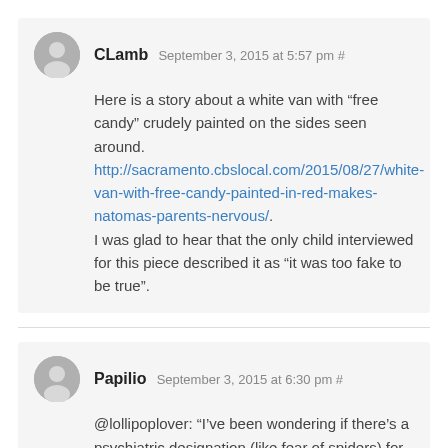CLamb September 3, 2015 at 5:57 pm #
Here is a story about a white van with “free candy” crudely painted on the sides seen around. http://sacramento.cbslocal.com/2015/08/27/white-van-with-free-candy-painted-in-red-makes-natomas-parents-nervous/. I was glad to hear that the only child interviewed for this piece described it as “it was too fake to be true”.
Papilio September 3, 2015 at 6:30 pm #
@lollipoplover: “I’ve been wondering if there’s a psychiatric designation (like fear of spiders) for whitecreepervanitis. Imagine if pharma companies researched and treated this condition."
-itis would be an infection. What we need is leuko + Ancient Greek for ‘van’ + phobia.